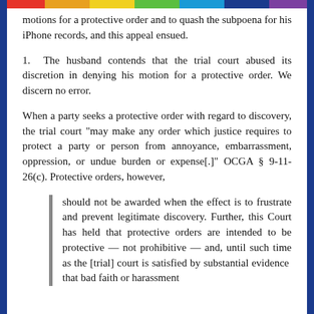motions for a protective order and to quash the subpoena for his iPhone records, and this appeal ensued.
1.  The husband contends that the trial court abused its discretion in denying his motion for a protective order. We discern no error.
When a party seeks a protective order with regard to discovery, the trial court "may make any order which justice requires to protect a party or person from annoyance, embarrassment, oppression, or undue burden or expense[.]" OCGA § 9-11-26(c). Protective orders, however,
should not be awarded when the effect is to frustrate and prevent legitimate discovery. Further, this Court has held that protective orders are intended to be protective — not prohibitive — and, until such time as the [trial] court is satisfied by substantial evidence that bad faith or harassment